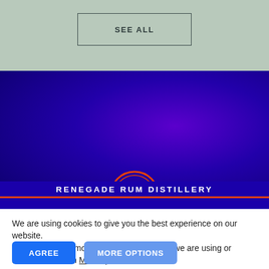[Figure (screenshot): Sage green background section with a 'SEE ALL' button outlined in dark teal]
[Figure (logo): Renegade Rum Distillery logo: dark blue to deep purple radial gradient background with an orange circular logo icon containing a stylized scissor/rum-related symbol. Brand name 'RENEGADE RUM DISTILLERY' in white spaced capital letters with an orange underline.]
We are using cookies to give you the best experience on our website.
You can find out more about which cookies we are using or switch them off in More options.
AGREE
MORE OPTIONS